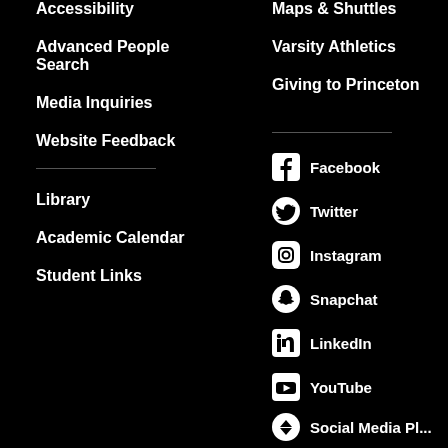Accessibility
Maps & Shuttles
Advanced People Search
Varsity Athletics
Media Inquiries
Giving to Princeton
Website Feedback
Library
Academic Calendar
Student Links
Facebook
Twitter
Instagram
Snapchat
LinkedIn
YouTube
Social Media Plus